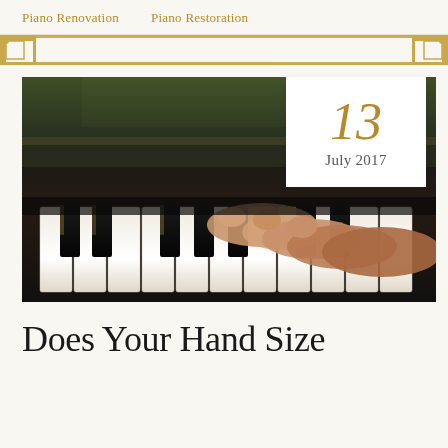Piano Renovation    Piano Restoration
[Figure (photo): Close-up photograph of a person's hand playing piano keys, with black and white keys visible and a blurred green background]
13
July 2017
Does Your Hand Size